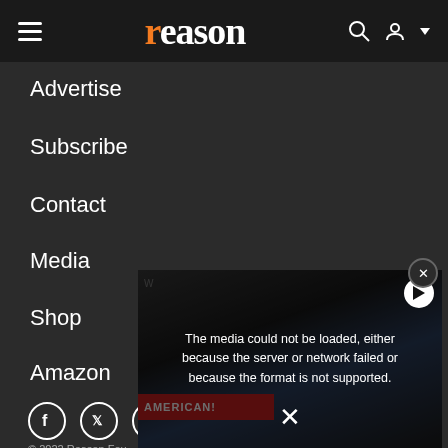reason
Advertise
Subscribe
Contact
Media
Shop
Amazon
[Figure (screenshot): Social media icons row: Facebook, Twitter, Instagram, and partial fourth icon]
[Figure (screenshot): Video player overlay showing error message: 'The media could not be loaded, either because the server or network failed or because the format is not supported.' with a close X button and play button. Background shows protest scene with AMERICAN! red banner sign.]
© 2022 Reason Fou